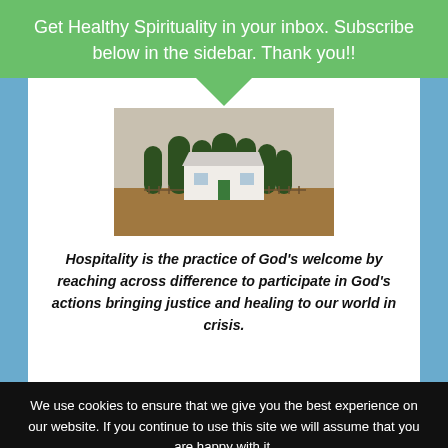Get Healthy Spirituality in your inbox. Subscribe below in the sidebar. Thank you!!
[Figure (photo): A small white farmhouse or chapel surrounded by trees on a flat landscape with brown fields, with a green downward-pointing triangle above the image.]
Hospitality is the practice of God's welcome by reaching across difference to participate in God's actions bringing justice and healing to our world in crisis.
We use cookies to ensure that we give you the best experience on our website. If you continue to use this site we will assume that you are happy with it.